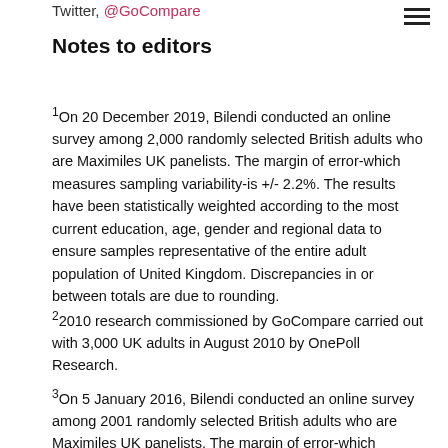Twitter, @GoCompare
Notes to editors
1On 20 December 2019, Bilendi conducted an online survey among 2,000 randomly selected British adults who are Maximiles UK panelists. The margin of error-which measures sampling variability-is +/- 2.2%. The results have been statistically weighted according to the most current education, age, gender and regional data to ensure samples representative of the entire adult population of United Kingdom. Discrepancies in or between totals are due to rounding.
22010 research commissioned by GoCompare carried out with 3,000 UK adults in August 2010 by OnePoll Research.
3On 5 January 2016, Bilendi conducted an online survey among 2001 randomly selected British adults who are Maximiles UK panelists. The margin of error-which measures sampling variability-is +/- 2.2%. The results